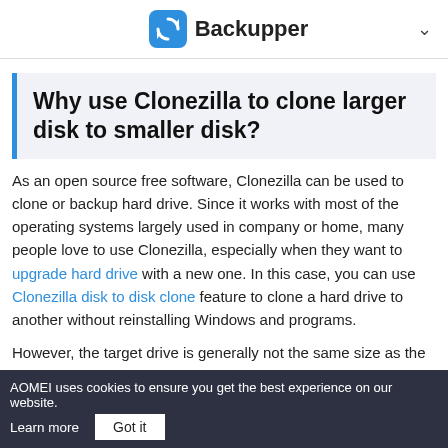Backupper
Why use Clonezilla to clone larger disk to smaller disk?
As an open source free software, Clonezilla can be used to clone or backup hard drive. Since it works with most of the operating systems largely used in company or home, many people love to use Clonezilla, especially when they want to upgrade hard drive with a new one. In this case, you can use Clonezilla disk to disk clone feature to clone a hard drive to another without reinstalling Windows and programs.
However, the target drive is generally not the same size as the
AOMEI uses cookies to ensure you get the best experience on our website. Learn more  Got it